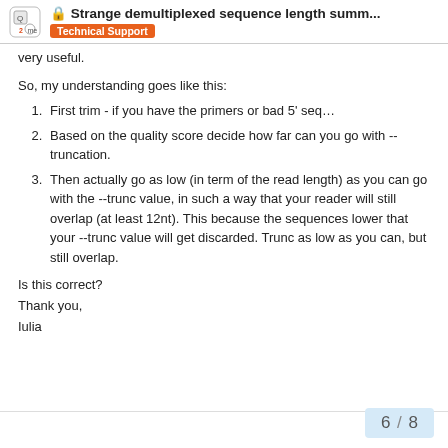🔒 Strange demultiplexed sequence length summ... | Technical Support
very useful.
So, my understanding goes like this:
First trim - if you have the primers or bad 5' seq…
Based on the quality score decide how far can you go with --truncation.
Then actually go as low (in term of the read length) as you can go with the --trunc value, in such a way that your reader will still overlap (at least 12nt). This because the sequences lower that your --trunc value will get discarded. Trunc as low as you can, but still overlap.
Is this correct?
Thank you,
Iulia
6 / 8